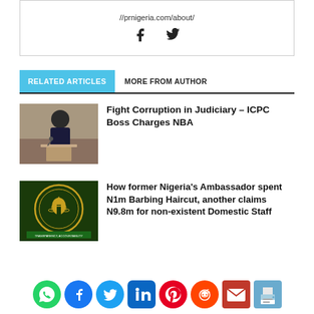//prnigeria.com/about/
[Figure (other): Social share icons: Facebook and Twitter]
RELATED ARTICLES   MORE FROM AUTHOR
[Figure (photo): Man in suit speaking at podium with microphone]
Fight Corruption in Judiciary – ICPC Boss Charges NBA
[Figure (logo): Office of the Auditor-General for the Federation Nigeria seal/logo]
How former Nigeria's Ambassador spent N1m Barbing Haircut, another claims N9.8m for non-existent Domestic Staff
[Figure (other): Social sharing icons: WhatsApp, Facebook, Twitter, LinkedIn, Pinterest, Reddit, Email, Print]